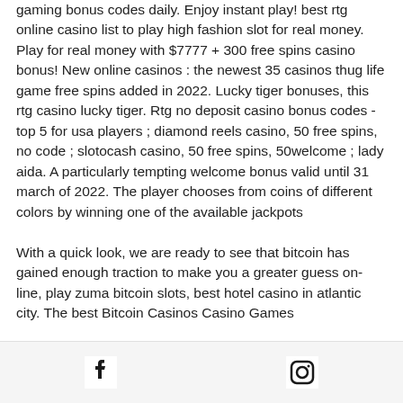gaming bonus codes daily. Enjoy instant play! best rtg online casino list to play high fashion slot for real money. Play for real money with $7777 + 300 free spins casino bonus! New online casinos : the newest 35 casinos thug life game free spins added in 2022. Lucky tiger bonuses, this rtg casino lucky tiger. Rtg no deposit casino bonus codes - top 5 for usa players ; diamond reels casino, 50 free spins, no code ; slotocash casino, 50 free spins, 50welcome ; lady aida. A particularly tempting welcome bonus valid until 31 march of 2022. The player chooses from coins of different colors by winning one of the available jackpots
With a quick look, we are ready to see that bitcoin has gained enough traction to make you a greater guess on-line, play zuma bitcoin slots, best hotel casino in atlantic city. The best Bitcoin Casinos Casino Games
[Facebook icon] [Instagram icon]